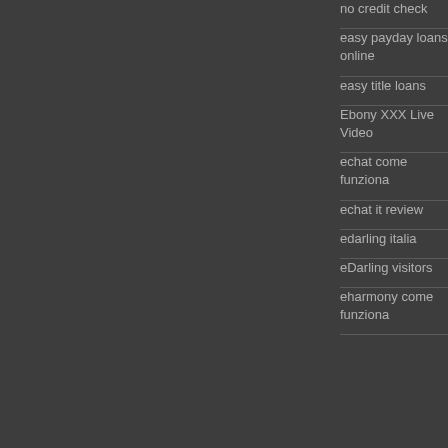no credit check
easy payday loans online
easy title loans
Ebony XXX Live Video
echat come funziona
echat it review
edarling italia
eDarling visitors
eharmony come funziona